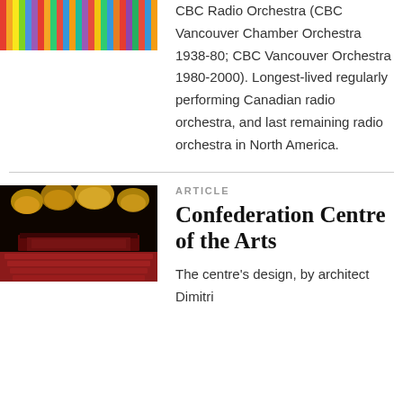[Figure (photo): Colorful striped image, cropped at top of page]
CBC Radio Orchestra (CBC Vancouver Chamber Orchestra 1938-80; CBC Vancouver Orchestra 1980-2000). Longest-lived regularly performing Canadian radio orchestra, and last remaining radio orchestra in North America.
ARTICLE
[Figure (photo): Interior of a theater with red seats and golden stage lights]
Confederation Centre of the Arts
The centre's design, by architect Dimitri